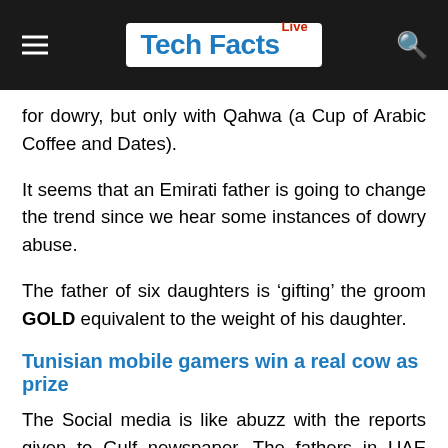Tech Facts Live
for dowry, but only with Qahwa (a Cup of Arabic Coffee and Dates).
It seems that an Emirati father is going to change the trend since we hear some instances of dowry abuse.
The father of six daughters is ‘gifting’ the groom GOLD equivalent to the weight of his daughter.
Tunisian mobile gamers win a real cow as prize
The Social media is like abuzz with the reports given to Gulf newspaper. The fathers in UAE believe that wedding costs are so unbearable that Emirati men are marrying non-Emirati women where the cost force make them do that.